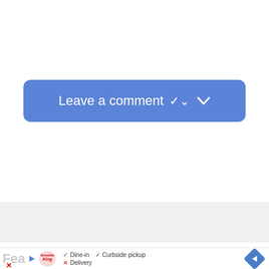[Figure (screenshot): A blue rounded button labeled 'Leave a comment' with a chevron/down arrow icon on the right side, centered on a white background.]
[Figure (infographic): Advertisement bar at the bottom showing: 'Fea' text (truncated), a play button icon, Smoothie King logo, dine-in checkbox checked, curbside pickup checkbox checked, delivery with X mark, and a blue navigation diamond arrow icon.]